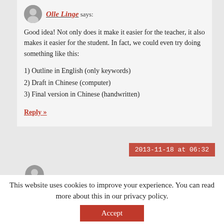Olle Linge says:
Good idea! Not only does it make it easier for the teacher, it also makes it easier for the student. In fact, we could even try doing something like this:
1) Outline in English (only keywords)
2) Draft in Chinese (computer)
3) Final version in Chinese (handwritten)
Reply »
2013-11-18 at 06:32
This website uses cookies to improve your experience. You can read more about this in our privacy policy.
Accept
Read more...